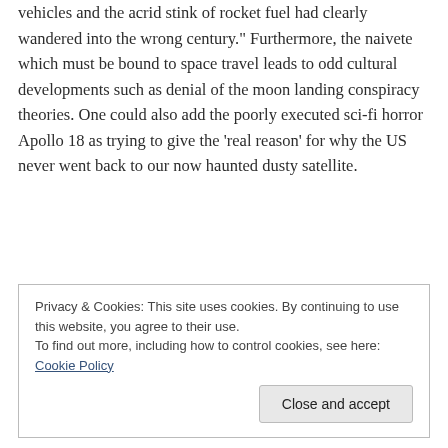vehicles and the acrid stink of rocket fuel had clearly wandered into the wrong century.” Furthermore, the naivete which must be bound to space travel leads to odd cultural developments such as denial of the moon landing conspiracy theories. One could also add the poorly executed sci-fi horror Apollo 18 as trying to give the ‘real reason’ for why the US never went back to our now haunted dusty satellite.
Privacy & Cookies: This site uses cookies. By continuing to use this website, you agree to their use.
To find out more, including how to control cookies, see here: Cookie Policy